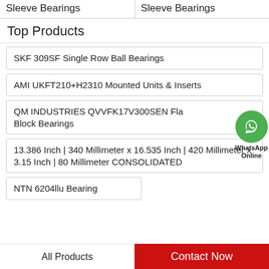Sleeve Bearings | Sleeve Bearings
Top Products
SKF 309SF Single Row Ball Bearings
AMI UKFT210+H2310 Mounted Units & Inserts
QM INDUSTRIES QVVFK17V300SEN Flange Block Bearings
[Figure (logo): WhatsApp Online green circle phone icon with label WhatsApp Online]
13.386 Inch | 340 Millimeter x 16.535 Inch | 420 Millimeter x 3.15 Inch | 80 Millimeter CONSOLIDATED
NTN 6204llu Bearing
All Products | Contact Now